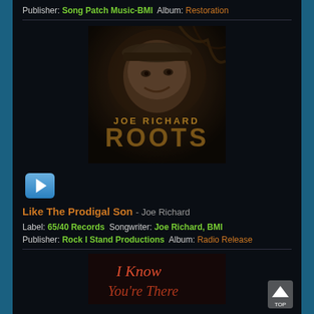Publisher: Song Patch Music-BMI  Album: Restoration
[Figure (photo): Album cover for Joe Richard - Roots, showing a man in a cap smiling, with the text JOE RICHARD ROOTS in gold letters]
[Figure (other): Blue play button]
Like The Prodigal Son - Joe Richard
Label: 65/40 Records  Songwriter: Joe Richard, BMI
Publisher: Rock I Stand Productions  Album: Radio Release
[Figure (photo): Partial album cover showing cursive text 'I Know You're There']